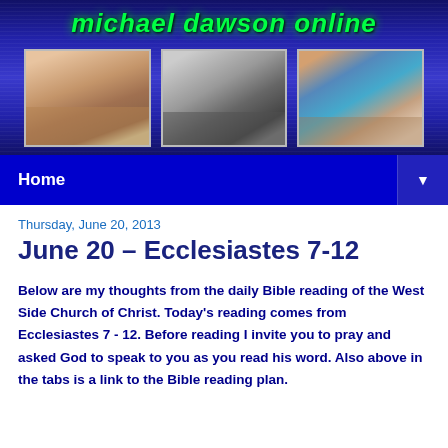[Figure (photo): Website banner header showing 'michael dawson online' in green italic text on a dark blue gradient background, with three family photos below]
Home ▼
Thursday, June 20, 2013
June 20 – Ecclesiastes 7-12
Below are my thoughts from the daily Bible reading of the West Side Church of Christ. Today's reading comes from Ecclesiastes 7 - 12. Before reading I invite you to pray and asked God to speak to you as you read his word. Also above in the tabs is a link to the Bible reading plan.